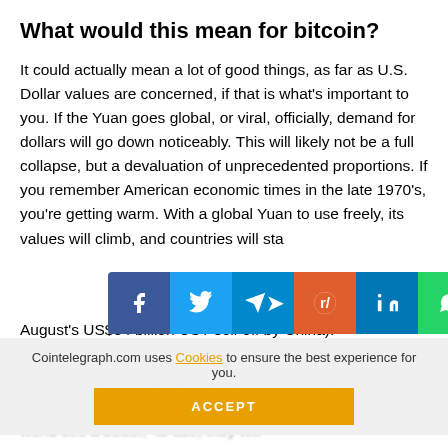What would this mean for bitcoin?
It could actually mean a lot of good things, as far as U.S. Dollar values are concerned, if that is what's important to you. If the Yuan goes global, or viral, officially, demand for dollars will go down noticeably. This will likely not be a full collapse, but a devaluation of unprecedented proportions. If you remember American economic times in the late 1970's, you're getting warm. With a global Yuan to use freely, its values will climb, and countries will sta... (August's US$54 billion UST sell-off by China).
[Figure (other): Social media share bar with icons for Facebook, Twitter, Telegram, Reddit, LinkedIn, WhatsApp, Copy, and scroll-up button]
When you are the global reserve currency, over 50% of your currency resides outside ... countries around the world see a better, ... to use, they will ...
Cointelegraph.com uses Cookies to ensure the best experience for you. ACCEPT